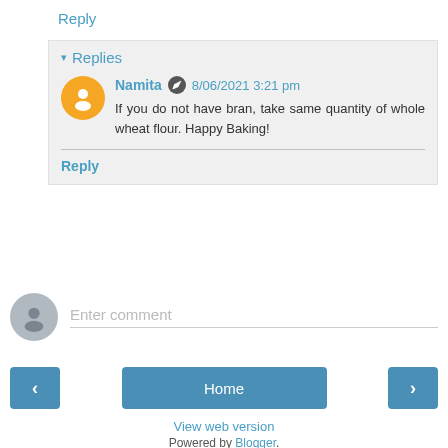Reply
▾ Replies
Namita · 8/06/2021 3:21 pm
If you do not have bran, take same quantity of whole wheat flour. Happy Baking!
Reply
Enter comment
‹
Home
›
View web version
Powered by Blogger.